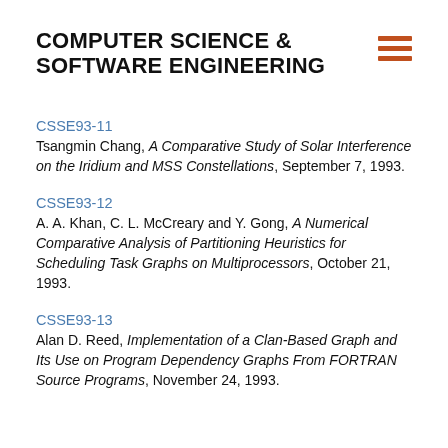COMPUTER SCIENCE & SOFTWARE ENGINEERING
CSSE93-11
Tsangmin Chang, A Comparative Study of Solar Interference on the Iridium and MSS Constellations, September 7, 1993.
CSSE93-12
A. A. Khan, C. L. McCreary and Y. Gong, A Numerical Comparative Analysis of Partitioning Heuristics for Scheduling Task Graphs on Multiprocessors, October 21, 1993.
CSSE93-13
Alan D. Reed, Implementation of a Clan-Based Graph and Its Use on Program Dependency Graphs From FORTRAN Source Programs, November 24, 1993.